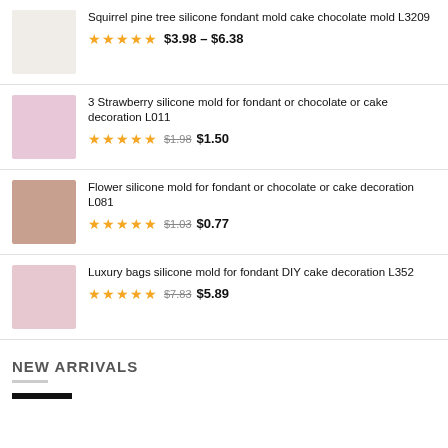Squirrel pine tree silicone fondant mold cake chocolate mold L3209 — ★★★★★ $3.98 – $6.38
3 Strawberry silicone mold for fondant or chocolate or cake decoration L011 — ★★★★★ $1.98 $1.50
Flower silicone mold for fondant or chocolate or cake decoration L081 — ★★★★★ $1.03 $0.77
Luxury bags silicone mold for fondant DIY cake decoration L352 — ★★★★★ $7.83 $5.89
NEW ARRIVALS